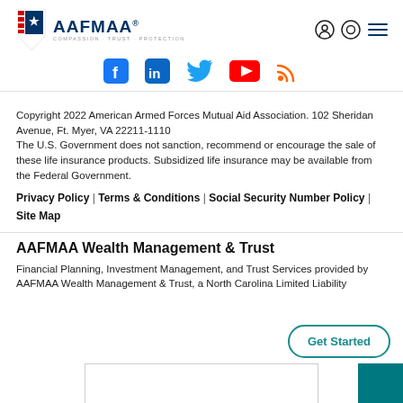AAFMAA® — COMPASSION · TRUST · PROTECTION
[Figure (logo): AAFMAA logo with red/blue chevron shield and text AAFMAA with tagline COMPASSION TRUST PROTECTION]
[Figure (infographic): Social media icons: Facebook, LinkedIn, Twitter, YouTube, RSS]
Copyright 2022 American Armed Forces Mutual Aid Association. 102 Sheridan Avenue, Ft. Myer, VA 22211-1110
The U.S. Government does not sanction, recommend or encourage the sale of these life insurance products. Subsidized life insurance may be available from the Federal Government.
Privacy Policy | Terms & Conditions | Social Security Number Policy | Site Map
AAFMAA Wealth Management & Trust
Financial Planning, Investment Management, and Trust Services provided by AAFMAA Wealth Management & Trust, a North Carolina Limited Liability